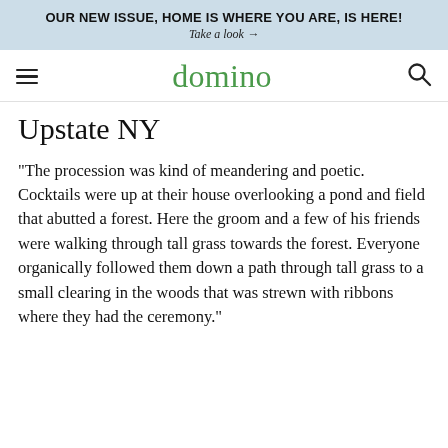OUR NEW ISSUE, HOME IS WHERE YOU ARE, IS HERE! Take a look →
domino
Upstate NY
“The procession was kind of meandering and poetic. Cocktails were up at their house overlooking a pond and field that abutted a forest. Here the groom and a few of his friends were walking through tall grass towards the forest. Everyone organically followed them down a path through tall grass to a small clearing in the woods that was strewn with ribbons where they had the ceremony.”